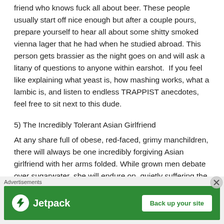friend who knows fuck all about beer. These people usually start off nice enough but after a couple pours, prepare yourself to hear all about some shitty smoked vienna lager that he had when he studied abroad. This person gets brassier as the night goes on and will ask a litany of questions to anyone within earshot.  If you feel like explaining what yeast is, how mashing works, what a lambic is, and listen to endless TRAPPIST anecdotes, feel free to sit next to this dude.
5) The Incredibly Tolerant Asian Girlfriend
At any share full of obese, red-faced, grimy manchildren, there will always be one incredibly forgiving Asian girlfriend with her arms folded. While grown men debate over sugarwater, she will endure on, quietly suffering the tired banter and quips from the shameful attendees.  At some point in the proceedings she will
[Figure (other): Jetpack advertisement banner with green background, Jetpack logo on left and 'Back up your site' white button on right]